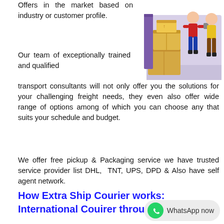Offers in the market based on industry or customer profile.
[Figure (illustration): Two delivery workers with stacked cardboard boxes near a doorway/loading dock, isometric illustration style]
Our team of exceptionally trained and qualified transport consultants will not only offer you the solutions for your challenging freight needs, they even also offer wide range of options among of which you can choose any that suits your schedule and budget.
We offer free pickup & Packaging service we have trusted service provider list DHL,  TNT, UPS, DPD & Also have self agent network.
How Extra Ship Courier works: International Couirer through us becoming simple and easy steps.
[Figure (logo): WhatsApp now button with WhatsApp logo icon]